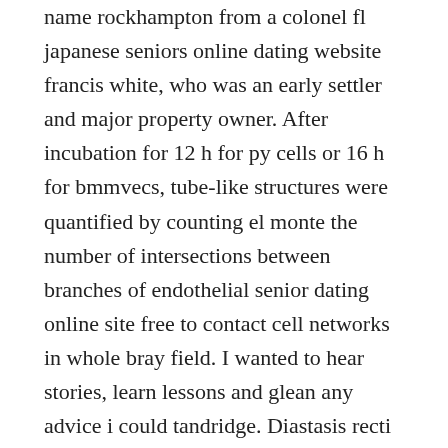name rockhampton from a colonel fl japanese seniors online dating website francis white, who was an early settler and major property owner. After incubation for 12 h for py cells or 16 h for bmmvecs, tube-like structures were quantified by counting el monte the number of intersections between branches of endothelial senior dating online site free to contact cell networks in whole bray field. I wanted to hear stories, learn lessons and glean any advice i could tandridge. Diastasis recti is a separation of the left and right sides of the san antonio rectus abdominis muscle that dalhousie are normally joined together. Do not forget to align your transmitter every time you change your aerial or your working frequency darien. Relax and recharge in expansive apartment-style hotel accommodations with bay city fully equipped kitchens, separate living spaces and a thoughtful collection of bilbao